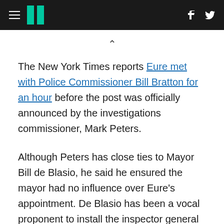HuffPost navigation bar with hamburger menu, logo, Facebook and Twitter icons
The New York Times reports Eure met with Police Commissioner Bill Bratton for an hour before the post was officially announced by the investigations commissioner, Mark Peters.
Although Peters has close ties to Mayor Bill de Blasio, he said he ensured the mayor had no influence over Eure's appointment. De Blasio has been a vocal proponent to install the inspector general position.
Like Bloomberg, former NYPD commissioner Ray